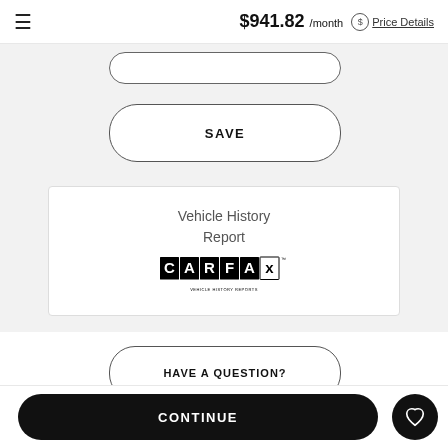$941.82 /month  Price Details
SAVE
[Figure (logo): CARFAX Vehicle History Reports logo]
Vehicle History Report
HAVE A QUESTION?
CONTINUE